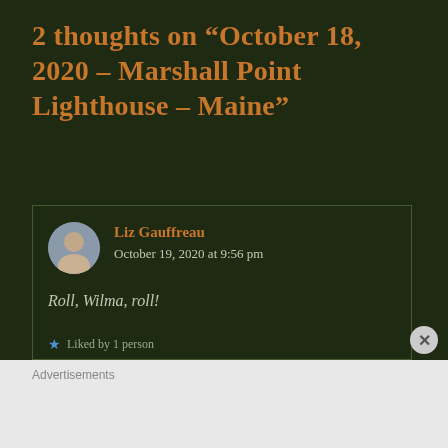2 thoughts on “October 18, 2020 - Marshall Point Lighthouse - Maine”
Liz Gauffreau
October 19, 2020 at 9:56 pm
Roll, Wilma, roll!
★ Liked by 1 person
Advertisements